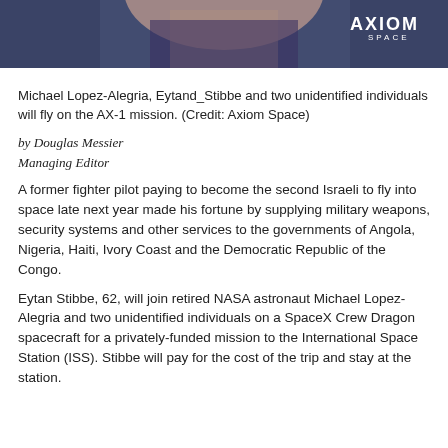[Figure (photo): Photo of a man in a suit with Axiom Space logo in upper right corner]
Michael Lopez-Alegria, Eytand_Stibbe and two unidentified individuals will fly on the AX-1 mission. (Credit: Axiom Space)
by Douglas Messier
Managing Editor
A former fighter pilot paying to become the second Israeli to fly into space late next year made his fortune by supplying military weapons, security systems and other services to the governments of Angola, Nigeria, Haiti, Ivory Coast and the Democratic Republic of the Congo.
Eytan Stibbe, 62, will join retired NASA astronaut Michael Lopez-Alegria and two unidentified individuals on a SpaceX Crew Dragon spacecraft for a privately-funded mission to the International Space Station (ISS). Stibbe will pay for the cost of the trip and stay at the station.